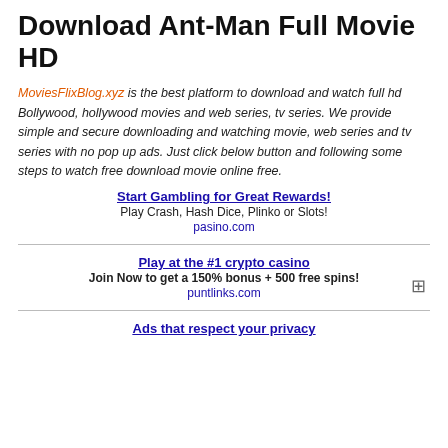Download Ant-Man Full Movie HD
MoviesFlixBlog.xyz is the best platform to download and watch full hd Bollywood, hollywood movies and web series, tv series. We provide simple and secure downloading and watching movie, web series and tv series with no pop up ads. Just click below button and following some steps to watch free download movie online free.
Start Gambling for Great Rewards!
Play Crash, Hash Dice, Plinko or Slots!
pasino.com
Play at the #1 crypto casino
Join Now to get a 150% bonus + 500 free spins!
puntlinks.com
Ads that respect your privacy